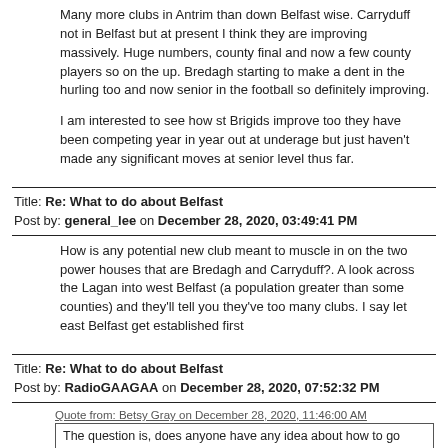Many more clubs in Antrim than down Belfast wise. Carryduff not in Belfast but at present I think they are improving massively. Huge numbers, county final and now a few county players so on the up. Bredagh starting to make a dent in the hurling too and now senior in the football so definitely improving.
I am interested to see how st Brigids improve too they have been competing year in year out at underage but just haven't made any significant moves at senior level thus far.
Title: Re: What to do about Belfast
Post by: general_lee on December 28, 2020, 03:49:41 PM
How is any potential new club meant to muscle in on the two power houses that are Bredagh and Carryduff?. A look across the Lagan into west Belfast (a population greater than some counties) and they'll tell you they've too many clubs. I say let east Belfast get established first
Title: Re: What to do about Belfast
Post by: RadioGAAGAA on December 28, 2020, 07:52:32 PM
Quote from: Betsy Gray on December 28, 2020, 11:46:00 AM
The question is, does anyone have any idea about how to go about starting to fix it.